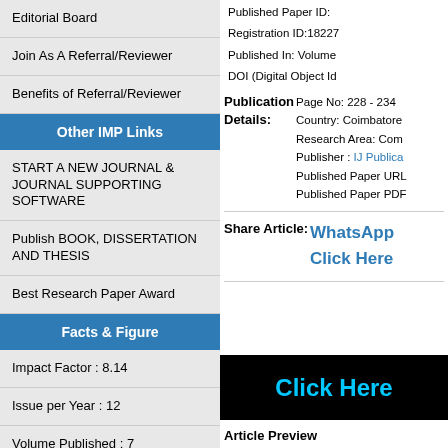Editorial Board
Join As A Referral/Reviewer
Benefits of Referral/Reviewer
Other IMP Links
START A NEW JOURNAL & JOURNAL SUPPORTING SOFTWARE
Publish BOOK, DISSERTATION AND THESIS
Best Research Paper Award
Facts & Figure
Impact Factor : 8.14
Issue per Year : 12
Volume Published : 7
Published Paper ID:
Registration ID:18227
Published In: Volume
DOI (Digital Object Id
Page No: 228 - 234
Country: Coimbatore
Research Area: Com
Publisher : IJ Publica
Published Paper URL
Published Paper PDF
Publication Details:
Share Article: WhatsApp Click Here
[Figure (screenshot): Black box with cyan 'Click Here' text]
Article Preview